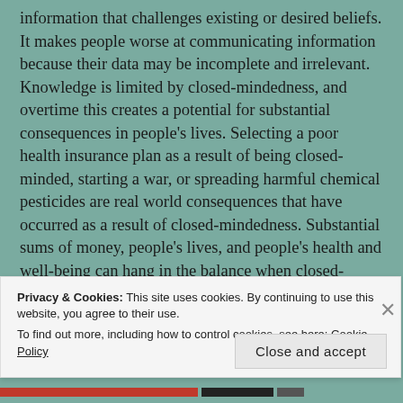information that challenges existing or desired beliefs. It makes people worse at communicating information because their data may be incomplete and irrelevant. Knowledge is limited by closed-mindedness, and overtime this creates a potential for substantial consequences in people's lives. Selecting a poor health insurance plan as a result of being closed-minded, starting a war, or spreading harmful chemical pesticides are real world consequences that have occurred as a result of closed-mindedness. Substantial sums of money, people's lives, and people's health and well-being can hang in the balance when closed-mindedness prevents people from making good decisions, regardless
Privacy & Cookies: This site uses cookies. By continuing to use this website, you agree to their use.
To find out more, including how to control cookies, see here: Cookie Policy
Close and accept